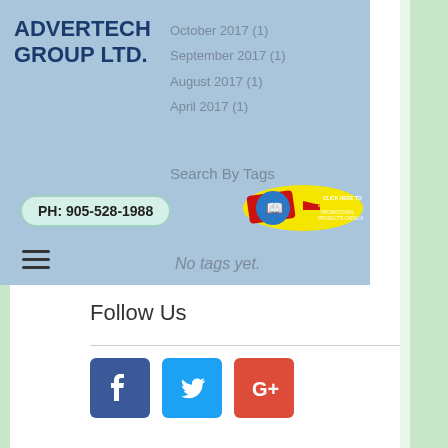ADVERTECH GROUP LTD.
October 2017 (1)
September 2017 (1)
August 2017 (1)
April 2017 (1)
Search By Tags
PH: 905-528-1988
[Figure (infographic): NEW Easy Search Promotional Products Catalogue badge with book icon and red arrow]
No tags yet.
Follow Us
[Figure (infographic): Social media icons: Facebook, Twitter, Google+]